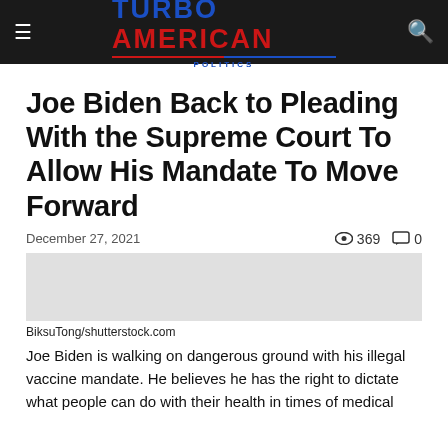TURBO AMERICAN
Joe Biden Back to Pleading With the Supreme Court To Allow His Mandate To Move Forward
December 27, 2021   369   0
BiksuTong/shutterstock.com
Joe Biden is walking on dangerous ground with his illegal vaccine mandate. He believes he has the right to dictate what people can do with their health in times of medical